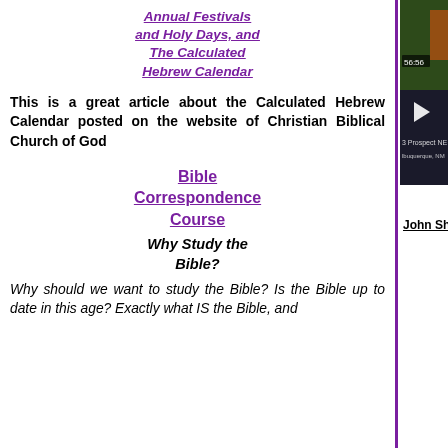Annual Festivals and Holy Days, and The Calculated Hebrew Calendar
This is a great article about the Calculated Hebrew Calendar posted on the website of Christian Biblical Church of God
Bible Correspondence Course
Why Study the Bible?
Why should we want to study the Bible? Is the Bible up to date in this age? Exactly what IS the Bible, and
[Figure (screenshot): Video player thumbnail showing outdoor scene with timestamp 56:56 and text '13 Prospect NE Albuquerque, New Mexico']
John Sh